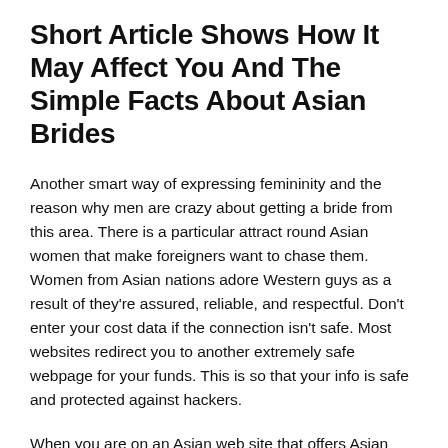Short Article Shows How It May Affect You And The Simple Facts About Asian Brides
Another smart way of expressing femininity and the reason why men are crazy about getting a bride from this area. There is a particular attract round Asian women that make foreigners want to chase them. Women from Asian nations adore Western guys as a result of they're assured, reliable, and respectful. Don't enter your cost data if the connection isn't safe. Most websites redirect you to another extremely safe webpage for your funds. This is so that your info is safe and protected against hackers.
When you are on an Asian web site that offers Asian bridal companies, make certain that you are comfortable searching